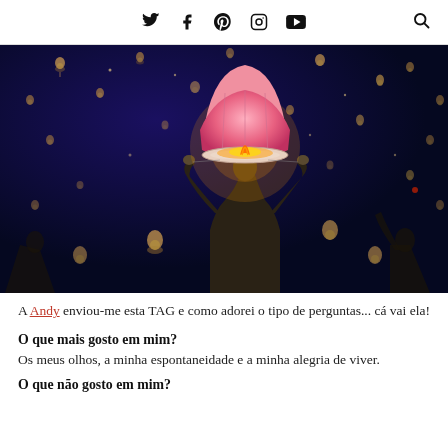Twitter Facebook Pinterest Instagram YouTube [Search]
[Figure (photo): Person releasing a glowing pink sky lantern at night, with many other lanterns floating in a dark blue sky]
A Andy enviou-me esta TAG e como adorei o tipo de perguntas... cá vai ela!
O que mais gosto em mim?
Os meus olhos, a minha espontaneidade e a minha alegria de viver.
O que não gosto em mim?